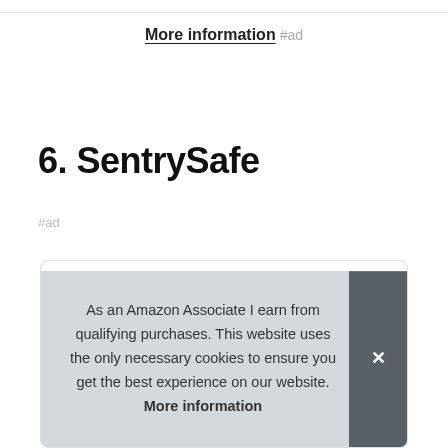More information #ad
6. SentrySafe
#ad
[Figure (photo): Product card showing SentrySafe product image, partially visible]
As an Amazon Associate I earn from qualifying purchases. This website uses the only necessary cookies to ensure you get the best experience on our website. More information